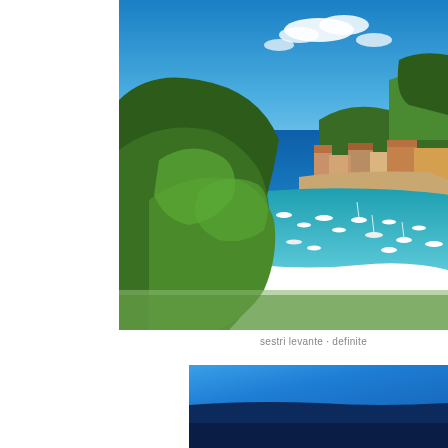[Figure (photo): Aerial/elevated view of Sestri Levante, Italy, showing a bay with turquoise water, white sailboats and motorboats moored in the harbor, lush green trees in the foreground, colorful Italian buildings along the waterfront, and deep blue open sea with clouds in the background.]
sestri levante - definite
[Figure (photo): Partial view of a bright blue surface, possibly a boat deck or structure, with a dark navy/black element below, cropped at the bottom of the page.]